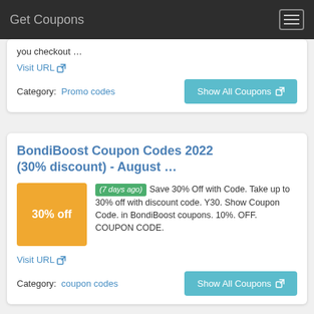Get Coupons
you checkout …
Visit URL
Category:  Promo codes
Show All Coupons
BondiBoost Coupon Codes 2022 (30% discount) - August …
(7 days ago) Save 30% Off with Code. Take up to 30% off with discount code. Y30. Show Coupon Code. in BondiBoost coupons. 10%. OFF. COUPON CODE.
Visit URL
Category:  coupon codes
Show All Coupons